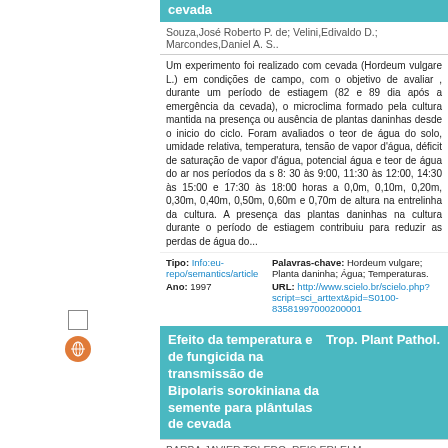cevada
Souza,José Roberto P. de; Velini,Edivaldo D.; Marcondes,Daniel A. S..
Um experimento foi realizado com cevada (Hordeum vulgare L.) em condições de campo, com o objetivo de avaliar , durante um período de estiagem (82 e 89 dia após a emergência da cevada), o microclima formado pela cultura mantida na presença ou ausência de plantas daninhas desde o inicio do ciclo. Foram avaliados o teor de água do solo, umidade relativa, temperatura, tensão de vapor d'água, déficit de saturação de vapor d'água, potencial água e teor de água do ar nos períodos da s 8: 30 às 9:00, 11:30 às 12:00, 14:30 às 15:00 e 17:30 às 18:00 horas a 0,0m, 0,10m, 0,20m, 0,30m, 0,40m, 0,50m, 0,60m e 0,70m de altura na entrelinha da cultura. A presença das plantas daninhas na cultura durante o período de estiagem contribuiu para reduzir as perdas de água do...
Tipo: Info:eu-repo/semantics/article
Ano: 1997
Palavras-chave: Hordeum vulgare; Planta daninha; Água; Temperaturas.
URL: http://www.scielo.br/scielo.php?script=sci_arttext&pid=S0100-83581997000200001
Efeito da temperatura e de fungicida na transmissão de Bipolaris sorokiniana da semente para plântulas de cevada Trop. Plant Pathol.
BARBA,JAVIER TOLEDO; REIS,ERLEI M.; FORCELINI,CARLOS A..
A transmissão de patógenos a partir de sementes e seu estabelecimento e desenvolvimento no hospedeiro são influenciados pelas condições ambientais, sendo a temperatura e a umidade do solo os fatores mais